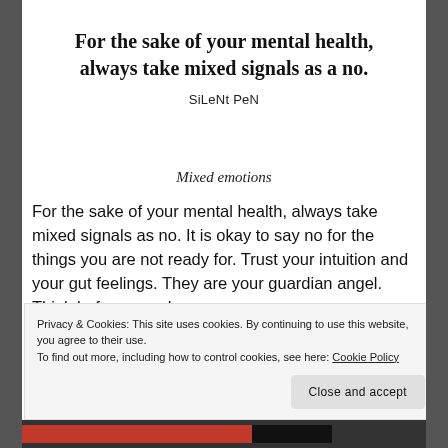For the sake of your mental health, always take mixed signals as a no.
SiLeNt PeN
Mixed emotions
For the sake of your mental health, always take mixed signals as no. It is okay to say no for the things you are not ready for. Trust your intuition and your gut feelings. They are your guardian angel. Think before you choose.
Privacy & Cookies: This site uses cookies. By continuing to use this website, you agree to their use.
To find out more, including how to control cookies, see here: Cookie Policy
Close and accept